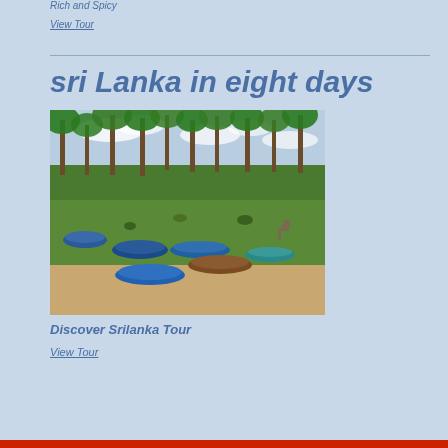Rich and Spicy
View Tour
sri Lanka in eight days
[Figure (photo): Coastal Sri Lanka scene with fishing boats resting on green grass near the beach, with tall palm trees in the background. Several wooden boats are scattered across a grassy area near the waterline.]
Discover Srilanka Tour
View Tour